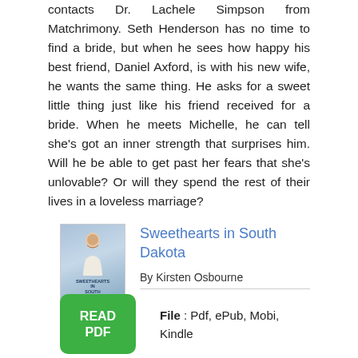contacts Dr. Lachele Simpson from Matchrimony. Seth Henderson has no time to find a bride, but when he sees how happy his best friend, Daniel Axford, is with his new wife, he wants the same thing. He asks for a sweet little thing just like his friend received for a bride. When he meets Michelle, he can tell she's got an inner strength that surprises him. Will he be able to get past her fears that she's unlovable? Or will they spend the rest of their lives in a loveless marriage?
Sweethearts in South Dakota
By Kirsten Osbourne
[Figure (illustration): Book cover for 'Sweethearts in South Dakota' by Kirsten Osbourne, showing a woman in a white dress]
File : Pdf, ePub, Mobi, Kindle